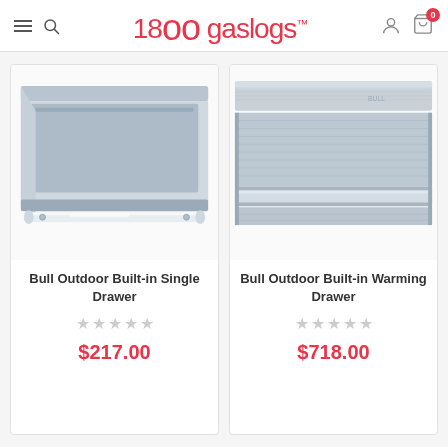1800gaslogs
[Figure (photo): Bull Outdoor Built-in Single Drawer - stainless steel drawer with chrome handle]
Bull Outdoor Built-in Single Drawer
$217.00
[Figure (photo): Bull Outdoor Built-in Warming Drawer - stainless steel warming drawer]
Bull Outdoor Built-in Warming Drawer
$718.00